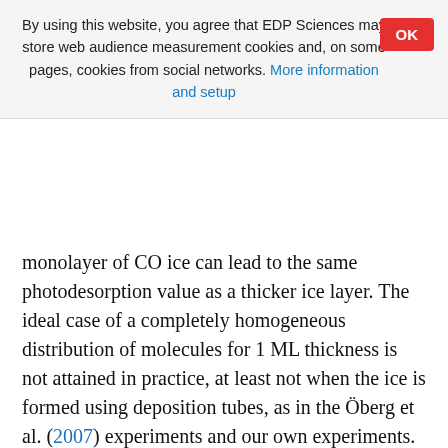By using this website, you agree that EDP Sciences may store web audience measurement cookies and, on some pages, cookies from social networks. More information and setup
monolayer of CO ice can lead to the same photodesorption value as a thicker ice layer. The ideal case of a completely homogeneous distribution of molecules for 1 ML thickness is not attained in practice, at least not when the ice is formed using deposition tubes, as in the Öberg et al. (2007) experiments and our own experiments. Even if there was no contribution from the adjacent monolayers to the photodesorption of the top monolayer, which is actually not the case as Öberg et al. (2009) shows, an average thickness of 1 ML means that in some spots of the substrate the thickness is 2 or more molecules, while other spots are empty, with no CO molecules covering the substrate, thus not contributing to photodesorption. As a result, the